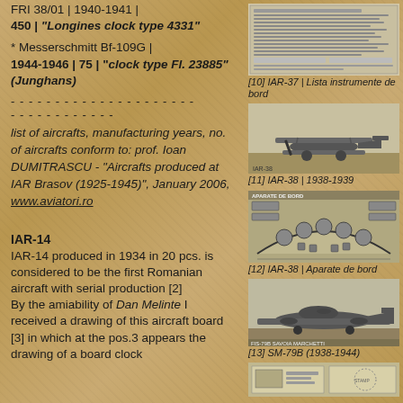FRI 38/01 | 1940-1941 | 450 | "Longines clock type 4331"
* Messerschmitt Bf-109G | 1944-1946 | 75 | "clock type Fl. 23885" (Junghans)
- - - - - - - - - - - - - - - - - - - - - - - - - - - - - - - -
list of aircrafts, manufacturing years, no. of aircrafts conform to: prof. Ioan DUMITRASCU - "Aircrafts produced at IAR Brasov (1925-1945)", January 2006, www.aviatori.ro
[Figure (photo): IAR-37 Lista instrumente de bord - document/list image]
[10] IAR-37 | Lista instrumente de bord
[Figure (photo): IAR-38 biplane aircraft photograph 1938-1939]
[11] IAR-38 | 1938-1939
[Figure (photo): IAR-38 Aparate de bord - instrument panel diagram]
[12] IAR-38 | Aparate de bord
[Figure (photo): SM-79B Savoia Marchetti aircraft photograph 1938-1944]
[13] SM-79B (1938-1944)
[Figure (photo): Partial photograph at bottom right]
IAR-14
IAR-14 produced in 1934 in 20 pcs. is considered to be the first Romanian aircraft with serial production [2]
By the amiability of Dan Melinte I received a drawing of this aircraft board [3] in which at the pos.3 appears the drawing of a board clock